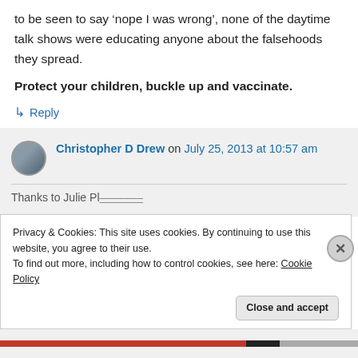to be seen to say ‘nope I was wrong’, none of the daytime talk shows were educating anyone about the falsehoods they spread.
Protect your children, buckle up and vaccinate.
↳ Reply
Christopher D Drew on July 25, 2013 at 10:57 am
Privacy & Cookies: This site uses cookies. By continuing to use this website, you agree to their use.
To find out more, including how to control cookies, see here: Cookie Policy
Close and accept